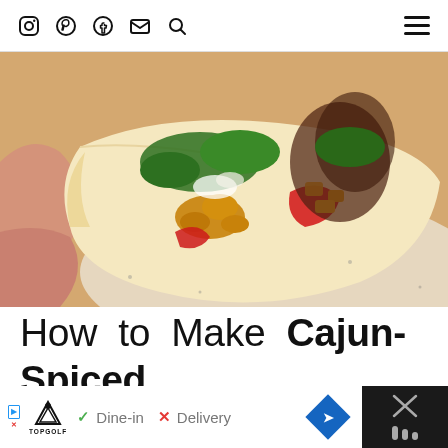Social media icons: Instagram, Pinterest, Facebook, Email, Search; hamburger menu
[Figure (photo): Close-up photo of a hand holding a cauliflower taco with mango salsa, red peppers, corn, and fresh cilantro on a flour tortilla, placed on a speckled ceramic plate.]
How to Make Cajun-Spiced Cauliflower Tacos:
[Figure (screenshot): Advertisement banner with black background. White section shows TopGolf logo, a checkbox with 'Dine-in', an X with 'Delivery', and a blue diamond arrow icon. Dark section on right shows an X icon and a trophy icon.]